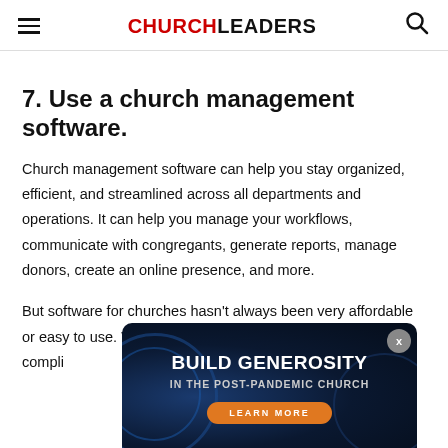CHURCHLEADERS
7. Use a church management software.
Church management software can help you stay organized, efficient, and streamlined across all departments and operations. It can help you manage your workflows, communicate with congregants, generate reports, manage donors, create an online presence, and more.
But software for churches hasn't always been very affordable or easy to use. With prices upwards of $200 per month and complicated interfaces, church management software hasn't always been the most accessible option for pastors
[Figure (infographic): Advertisement overlay with dark blue background showing 'BUILD GENEROSITY IN THE POST-PANDEMIC CHURCH' with a 'LEARN MORE' button in orange]
Since then, fortunately, more accessible options have...